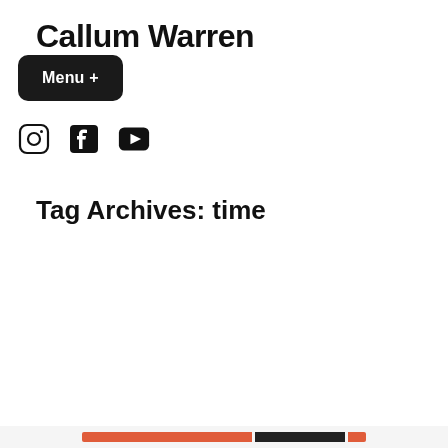Callum Warren
Menu +
[Figure (illustration): Social media icons: Instagram (circle with camera), Facebook (F logo), YouTube (play button in rectangle)]
Tag Archives: time
Privacy & Cookies: This site uses cookies. By continuing to use this website, you agree to their use. To find out more, including how to control cookies, see here: Cookie Policy
Close and accept